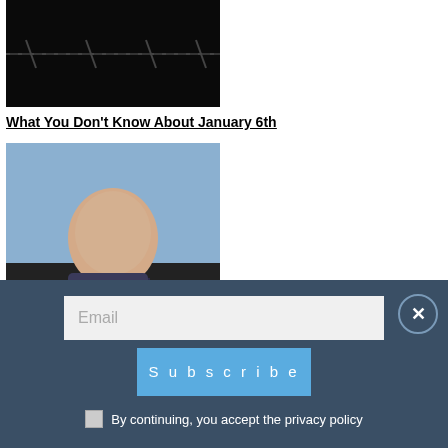[Figure (photo): Dark/black and white photo of barbed wire or similar dark subject]
What You Don't Know About January 6th
[Figure (photo): Photo of Elon Musk smiling and holding a microphone, wearing a suit, against a blue/dark background]
Elon Musk Warns The World Needs Oil & Gas Or “Civilization Will Crumble”
[Figure (photo): Partially visible photo at the bottom of the page]
Email
Subscribe
By continuing, you accept the privacy policy